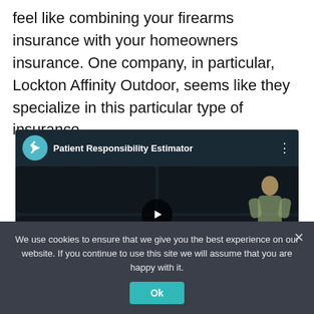feel like combining your firearms insurance with your homeowners insurance. One company, in particular, Lockton Affinity Outdoor, seems like they specialize in this particular type of insurance.
[Figure (screenshot): YouTube video embed thumbnail showing 'Patient Responsibility Estimator' with a teal logo, play button, grid of dark tiles with percent symbols, an illustrated figure on the right, and an orange banner reading 'PATIENT RESPONSIBILITY' at the bottom.]
We use cookies to ensure that we give you the best experience on our website. If you continue to use this site we will assume that you are happy with it.